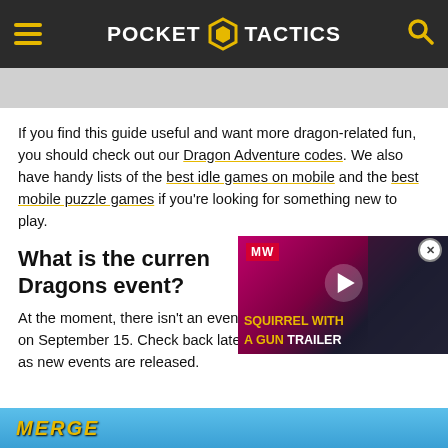POCKET TACTICS
[Figure (screenshot): Gray image placeholder bar below header]
If you find this guide useful and want more dragon-related fun, you should check out our Dragon Adventure codes. We also have handy lists of the best idle games on mobile and the best mobile puzzle games if you're looking for something new to play.
What is the current Dragons event?
[Figure (screenshot): Video overlay showing MW badge, play button, and text 'SQUIRREL WITH A GUN TRAILER']
At the moment, there isn't an event. The last event was Ov on September 15. Check back later, as we'll update this page as new events are released.
[Figure (screenshot): Bottom blue image bar with MERGE text logo]